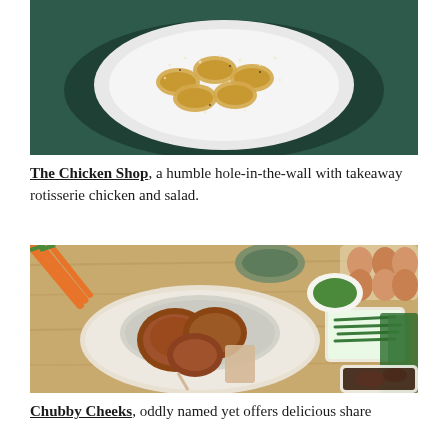[Figure (photo): Overhead view of tortellini pasta on a white plate dusted with grated cheese and black pepper, on a dark green surface.]
The Chicken Shop, a humble hole-in-the-wall with takeaway rotisserie chicken and salad.
[Figure (photo): Overhead flat-lay of rotisserie chicken pieces on a marble board with foil, green beans salad, pesto sauce, eggs in a carton, carrots, fresh herbs, and a chocolate dessert on a wooden table.]
Chubby Cheeks, oddly named yet offers delicious share